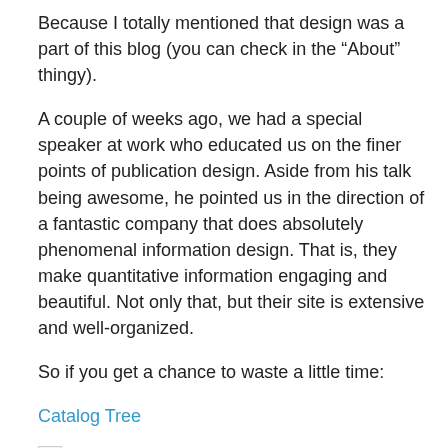Because I totally mentioned that design was a part of this blog (you can check in the “About” thingy).
A couple of weeks ago, we had a special speaker at work who educated us on the finer points of publication design. Aside from his talk being awesome, he pointed us in the direction of a fantastic company that does absolutely phenomenal information design. That is, they make quantitative information engaging and beautiful. Not only that, but their site is extensive and well-organized.
So if you get a chance to waste a little time:
Catalog Tree
[Figure (photo): Broken image placeholder icon]
This is a representation of traffic data. How awesome is